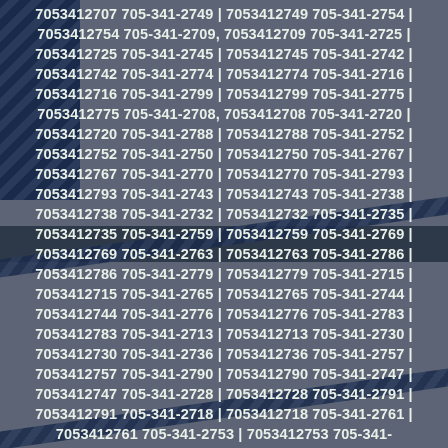7053412707 705-341-2749 | 7053412749 705-341-2754 | 7053412754 705-341-2709, 7053412709 705-341-2725 | 7053412725 705-341-2745 | 7053412745 705-341-2742 | 7053412742 705-341-2774 | 7053412774 705-341-2716 | 7053412716 705-341-2799 | 7053412799 705-341-2775 | 7053412775 705-341-2708, 7053412708 705-341-2720 | 7053412720 705-341-2788 | 7053412788 705-341-2752 | 7053412752 705-341-2750 | 7053412750 705-341-2767 | 7053412767 705-341-2770 | 7053412770 705-341-2793 | 7053412793 705-341-2743 | 7053412743 705-341-2738 | 7053412738 705-341-2732 | 7053412732 705-341-2735 | 7053412735 705-341-2759 | 7053412759 705-341-2769 | 7053412769 705-341-2763 | 7053412763 705-341-2786 | 7053412786 705-341-2779 | 7053412779 705-341-2715 | 7053412715 705-341-2765 | 7053412765 705-341-2744 | 7053412744 705-341-2776 | 7053412776 705-341-2783 | 7053412783 705-341-2713 | 7053412713 705-341-2730 | 7053412730 705-341-2736 | 7053412736 705-341-2757 | 7053412757 705-341-2790 | 7053412790 705-341-2747 | 7053412747 705-341-2728 | 7053412728 705-341-2791 | 7053412791 705-341-2718 | 7053412718 705-341-2761 | 7053412761 705-341-2753 | 7053412753 705-341-